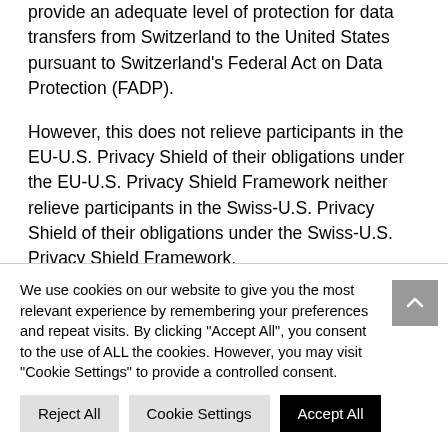provide an adequate level of protection for data transfers from Switzerland to the United States pursuant to Switzerland's Federal Act on Data Protection (FADP).
However, this does not relieve participants in the EU-U.S. Privacy Shield of their obligations under the EU-U.S. Privacy Shield Framework neither relieve participants in the Swiss-U.S. Privacy Shield of their obligations under the Swiss-U.S. Privacy Shield Framework.
We use cookies on our website to give you the most relevant experience by remembering your preferences and repeat visits. By clicking "Accept All", you consent to the use of ALL the cookies. However, you may visit "Cookie Settings" to provide a controlled consent.